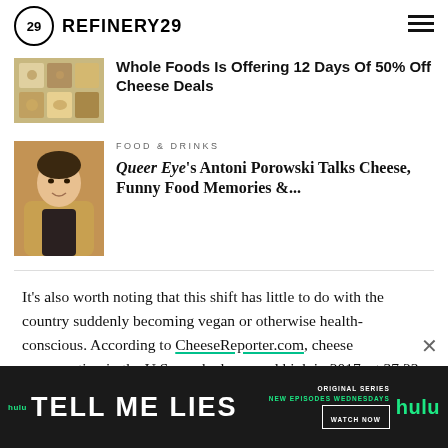REFINERY29
[Figure (photo): Thumbnail image of cheese products arranged in a grid]
Whole Foods Is Offering 12 Days Of 50% Off Cheese Deals
[Figure (photo): Photo of Antoni Porowski smiling, wearing a jacket]
FOOD & DRINKS
Queer Eye's Antoni Porowski Talks Cheese, Funny Food Memories &...
It's also worth noting that this shift has little to do with the country suddenly becoming vegan or otherwise health-conscious. According to CheeseReporter.com, cheese consumption in the U.S. reached a record high in 2017, at 37.23 lbs per person. We eat on average 7.44 lbs more per person...urther at the...the
[Figure (screenshot): Hulu advertisement banner for Tell Me Lies — Original Series, New Episodes Wednesdays, Watch Now button with Hulu logo]